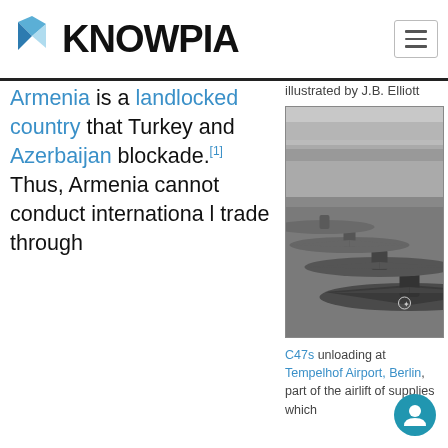KNOWPIA
Armenia is a landlocked country that Turkey and Azerbaijan blockade.[1] Thus, Armenia cannot conduct international trade through
illustrated by J.B. Elliott
[Figure (photo): Black and white photograph of C47 aircraft unloading at Tempelhof Airport, Berlin, showing multiple planes lined up on the tarmac with airport buildings in the background.]
C47s unloading at Tempelhof Airport, Berlin, part of the airlift of supplies which